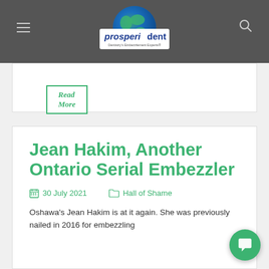[Figure (logo): Prosperident logo — globe with 'prosperident' text and 'Dentistry's Embezzlement Experts' tagline on dark nav bar]
Read More
Jean Hakim, Another Ontario Serial Embezzler
30 July 2021
Hall of Shame
Oshawa's Jean Hakim is at it again. She was previously nailed in 2016 for embezzling